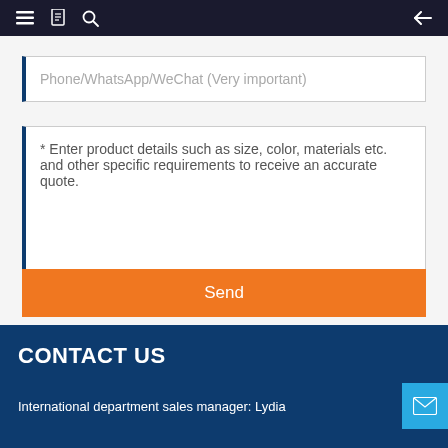Navigation bar with menu, book, search icons and back arrow
Phone/WhatsApp/WeChat (Very important)
* Enter product details such as size, color, materials etc. and other specific requirements to receive an accurate quote.
Send
CONTACT US
International department sales manager: Lydia